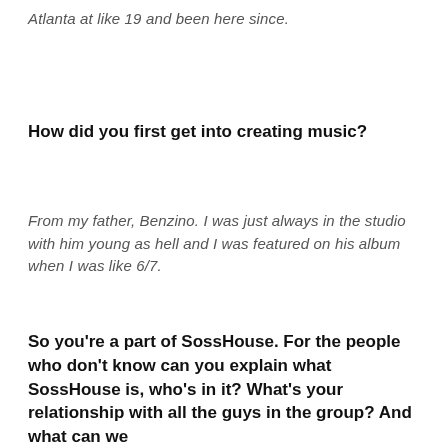Atlanta at like 19 and been here since.
How did you first get into creating music?
From my father, Benzino. I was just always in the studio with him young as hell and I was featured on his album when I was like 6/7.
So you're a part of SossHouse. For the people who don't know can you explain what SossHouse is, who's in it? What's your relationship with all the guys in the group? And what can we